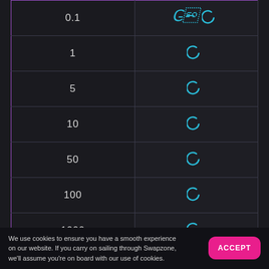| Amount | Loading |
| --- | --- |
| 0.1 | ⟳ |
| 1 | ⟳ |
| 5 | ⟳ |
| 10 | ⟳ |
| 50 | ⟳ |
| 100 | ⟳ |
| 1000 | ⟳ |
Other options to swap...
We use cookies to ensure you have a smooth experience on our website. If you carry on sailing through Swapzone, we'll assume you're on board with our use of cookies.